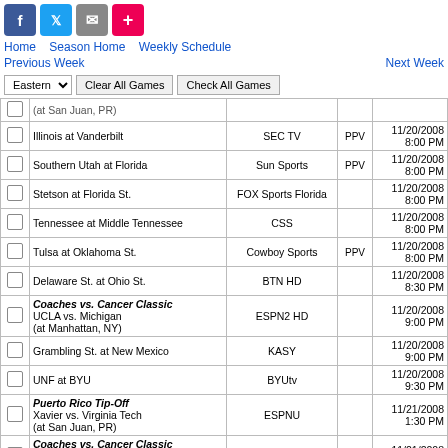[Figure (other): Social share buttons: Facebook (blue), Twitter (light blue), Email (grey), Plus/Add (red-orange)]
Home  Season Home  Weekly Schedule  Previous Week  Next Week
|  | Game | TV | PPV | Date/Time |
| --- | --- | --- | --- | --- |
|  | (at San Juan, PR) |  |  |  |
|  | Illinois at Vanderbilt | SEC TV | PPV | 11/20/2008 8:00 PM |
|  | Southern Utah at Florida | Sun Sports | PPV | 11/20/2008 8:00 PM |
|  | Stetson at Florida St. | FOX Sports Florida |  | 11/20/2008 8:00 PM |
|  | Tennessee at Middle Tennessee | CSS |  | 11/20/2008 8:00 PM |
|  | Tulsa at Oklahoma St. | Cowboy Sports | PPV | 11/20/2008 8:00 PM |
|  | Delaware St. at Ohio St. | BTN HD |  | 11/20/2008 8:30 PM |
|  | Coaches vs. Cancer Classic
UCLA vs. Michigan
(at Manhattan, NY) | ESPN2 HD |  | 11/20/2008 9:00 PM |
|  | Grambling St. at New Mexico | KASY |  | 11/20/2008 9:00 PM |
|  | UNF at BYU | BYUtv |  | 11/20/2008 9:30 PM |
|  | Puerto Rico Tip-Off
Xavier vs. Virginia Tech
(at San Juan, PR) | ESPNU |  | 11/21/2008 1:30 PM |
|  | Coaches vs. Cancer Classic
Southern Illinois vs. UCLA
(at Manhattan, NY) | ESPN2 HD |  | 11/21/2008 5:00 PM |
|  | Puerto Rico Tip-Off
Chattanooga vs. USC
(at San Juan, PR) | ESPNU |  | 11/21/2008 5:00 PM |
|  | Paradise Jam
La Salle vs. Connecticut
(at Charlotte Amalie, VI) | Big East Network |  | 11/21/2008 6:00 PM |
|  | Coaches vs. Cancer Classic |  |  |  |